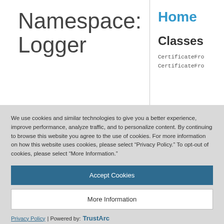Namespace: Logger
Home
Classes
CertificateFrom
CertificateFrom
We use cookies and similar technologies to give you a better experience, improve performance, analyze traffic, and to personalize content. By continuing to browse this website you agree to the use of cookies. For more information on how this website uses cookies, please select “Privacy Policy.” To opt-out of cookies, please select “More Information.”
Accept Cookies
More Information
Privacy Policy | Powered by: TrustArc
captured based on the configured
noupdate